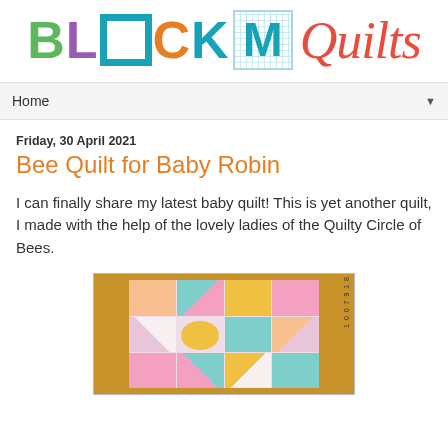[Figure (logo): Block M Quilts logo with colorful block letters and script 'Quilts' text]
Home ▼
Friday, 30 April 2021
Bee Quilt for Baby Robin
I can finally share my latest baby quilt! This is yet another quilt, I made with the help of the lovely ladies of the Quilty Circle of Bees.
[Figure (photo): Photo of a colorful patchwork baby quilt with pink, teal, yellow and white blocks, hanging on a wooden door with a ruler strip visible on the right side]